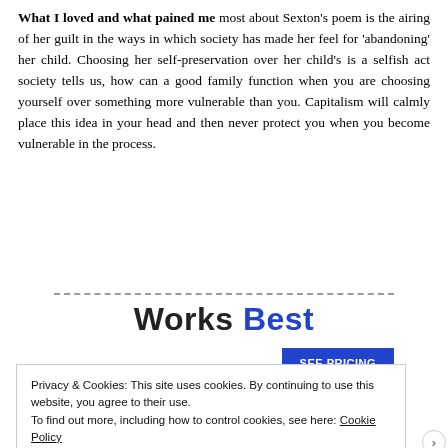What I loved and what pained me most about Sexton's poem is the airing of her guilt in the ways in which society has made her feel for 'abandoning' her child. Choosing her self-preservation over her child's is a selfish act society tells us, how can a good family function when you are choosing yourself over something more vulnerable than you. Capitalism will calmly place this idea in your head and then never protect you when you become vulnerable in the process.
[Figure (other): Advertisement banner with dashed line separator, 'Works Best' text in bold (Best in blue), and a 'SEE PRICING' button in blue]
Privacy & Cookies: This site uses cookies. By continuing to use this website, you agree to their use. To find out more, including how to control cookies, see here: Cookie Policy
Close and accept